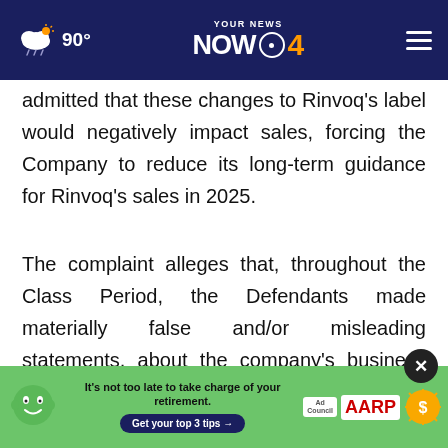YOUR NEWS NOW 4 — 90°
admitted that these changes to Rinvoq's label would negatively impact sales, forcing the Company to reduce its long-term guidance for Rinvoq's sales in 2025.
The complaint alleges that, throughout the Class Period, the Defendants made materially false and/or misleading statements, about the company's business and operations. Specifically, Defendants misrepresent…and/or failed…about
[Figure (screenshot): AARP Ad Council advertisement banner: It's not too late to take charge of your retirement. Get your top 3 tips button.]